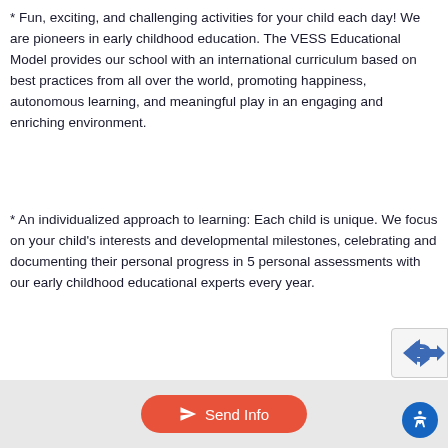* Fun, exciting, and challenging activities for your child each day! We are pioneers in early childhood education. The VESS Educational Model provides our school with an international curriculum based on best practices from all over the world, promoting happiness, autonomous learning, and meaningful play in an engaging and enriching environment.
* An individualized approach to learning: Each child is unique. We focus on your child's interests and developmental milestones, celebrating and documenting their personal progress in 5 personal assessments with our early childhood educational experts every year.